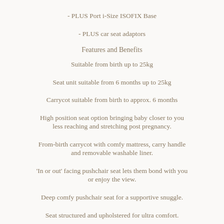- PLUS Port i-Size ISOFIX Base
- PLUS car seat adaptors
Features and Benefits
Suitable from birth up to 25kg
Seat unit suitable from 6 months up to 25kg
Carrycot suitable from birth to approx. 6 months
High position seat option bringing baby closer to you less reaching and stretching post pregnancy.
From-birth carrycot with comfy mattress, carry handle and removable washable liner.
'In or out' facing pushchair seat lets them bond with you or enjoy the view.
Deep comfy pushchair seat for a supportive snuggle.
Seat structured and upholstered for ultra comfort.